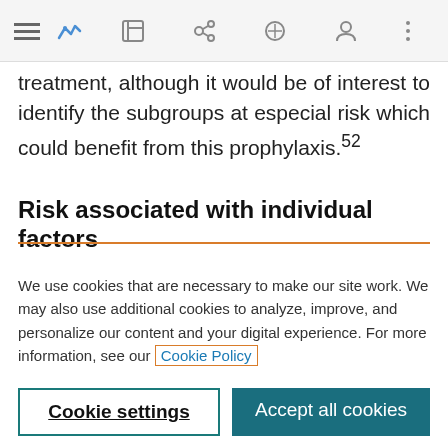[Navigation bar with menu, bookmark, share, search, account, and more icons]
treatment, although it would be of interest to identify the subgroups at especial risk which could benefit from this prophylaxis.52
Risk associated with individual factors
We use cookies that are necessary to make our site work. We may also use additional cookies to analyze, improve, and personalize our content and your digital experience. For more information, see our Cookie Policy
Cookie settings
Accept all cookies